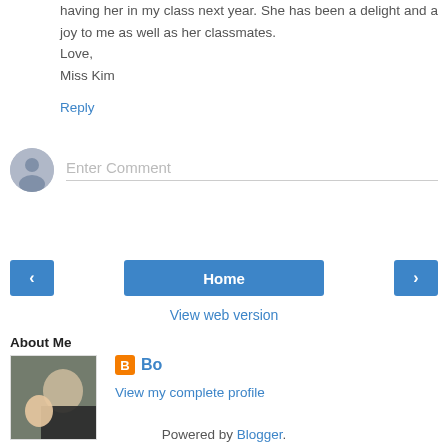having her in my class next year. She has been a delight and a joy to me as well as her classmates.
Love,
Miss Kim
Reply
Enter Comment
< Home >
View web version
About Me
Bo
View my complete profile
Powered by Blogger.